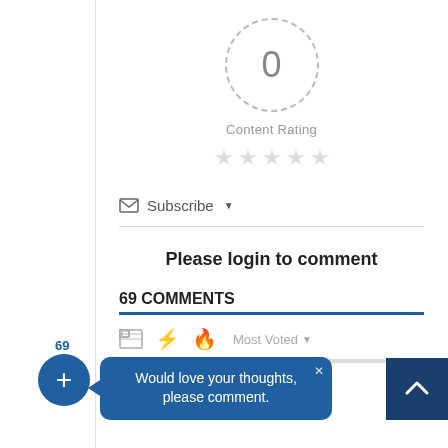[Figure (infographic): Dashed circle with number 0 inside, representing a content rating of 0]
Content Rating
[Figure (infographic): 5 empty/grey star icons for content rating]
Subscribe ▾
Please login to comment
69 COMMENTS
[Figure (infographic): Comments toolbar with image icon, lightning bolt, fire icon, and Most Voted dropdown]
Would love your thoughts, please comment.